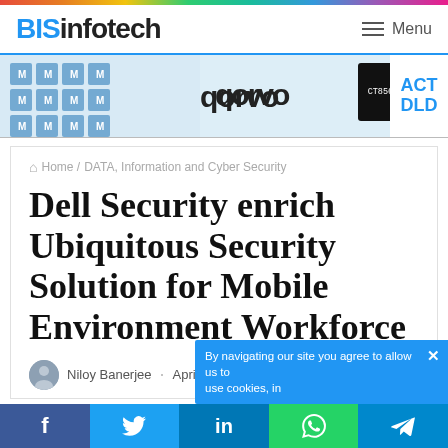BISinfotech — Menu
[Figure (illustration): Advertisement banner with multiple brand logos including geometric cube pattern, qorvo, and other electronics company logos. ACT DLD partially visible on right.]
Home / DATA, Information and Cyber Security
Dell Security enrich Ubiquitous Security Solution for Mobile Environment Workforce
Niloy Banerjee · April 15, 2016  3 minutes read
By navigating our site you agree to allow us to use cookies, in
f  y  in  (whatsapp)  (telegram)